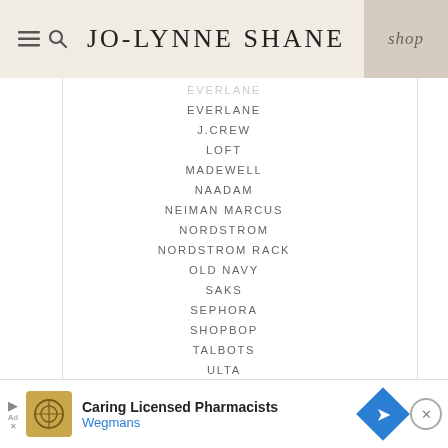JO-LYNNE SHANE
EVERLANE
J.CREW
LOFT
MADEWELL
NAADAM
NEIMAN MARCUS
NORDSTROM
NORDSTROM RACK
OLD NAVY
SAKS
SEPHORA
SHOPBOP
TALBOTS
ULTA
VUORI
Caring Licensed Pharmacists Wegmans